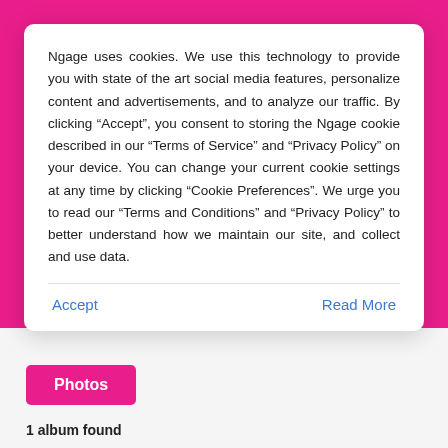Ngage uses cookies. We use this technology to provide you with state of the art social media features, personalize content and advertisements, and to analyze our traffic. By clicking “Accept”, you consent to storing the Ngage cookie described in our “Terms of Service” and “Privacy Policy” on your device. You can change your current cookie settings at any time by clicking “Cookie Preferences”. We urge you to read our “Terms and Conditions” and “Privacy Policy” to better understand how we maintain our site, and collect and use data.
Accept
Read More
Photos
1 album found